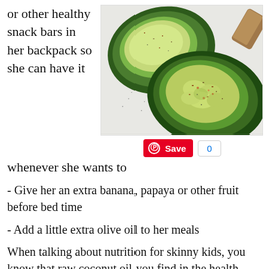or other healthy snack bars in her backpack so she can have it whenever she wants to
[Figure (photo): Two avocado halves with guacamole and seasoning on a white background]
Save 0
- Give her an extra banana, papaya or other fruit before bed time
- Add a little extra olive oil to her meals
When talking about nutrition for skinny kids, you know that raw coconut oil you find in the health food store? It's white and thick when it's stored in a cool place and